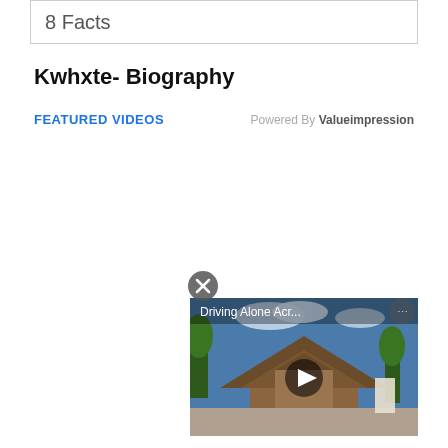8 Facts
Kwhxte- Biography
FEATURED VIDEOS    Powered By Valueimpression
[Figure (screenshot): Video thumbnail showing a temple scene with the title 'Driving Alone Acr...' and a play button overlay. A close button (X) appears above the video player. A small icon appears in the upper right of the video.]